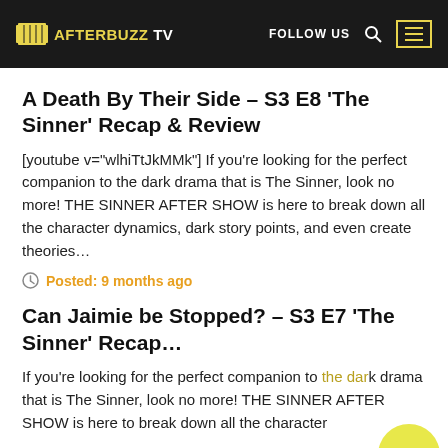AFTERBUZZ TV — FOLLOW US
A Death By Their Side – S3 E8 'The Sinner' Recap & Review
[youtube v="wlhiTtJkMMk"] If you're looking for the perfect companion to the dark drama that is The Sinner, look no more! THE SINNER AFTER SHOW is here to break down all the character dynamics, dark story points, and even create theories...
Posted: 9 months ago
Can Jaimie be Stopped? – S3 E7 'The Sinner' Recap...
If you're looking for the perfect companion to the dark drama that is The Sinner, look no more! THE SINNER AFTER SHOW is here to break down all the character